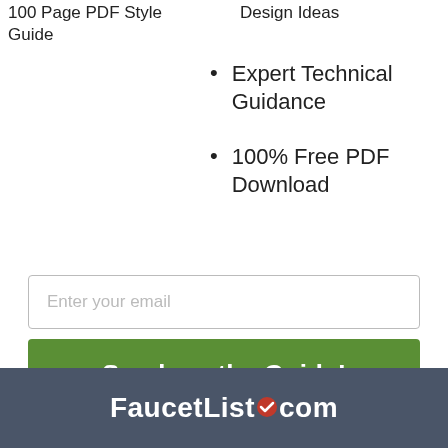100 Page PDF Style Guide
Design Ideas
Expert Technical Guidance
100% Free PDF Download
Enter your email
Send me the Guide!
FaucetList.com